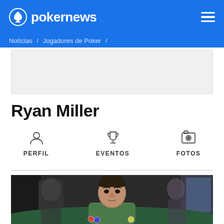pokernews
Notícias > Jogadores de Poker >
[Figure (other): Advertisement placeholder banner]
Ryan Miller
PERFIL
EVENTOS
FOTOS
[Figure (photo): Photo of Ryan Miller, a poker player wearing a green shirt, leaning over a poker table in a casino setting with other players in the background.]